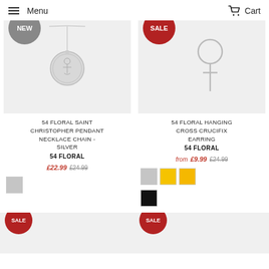Menu  Cart
[Figure (photo): Silver Saint Christopher pendant necklace chain on grey background with NEW badge]
54 FLORAL SAINT CHRISTOPHER PENDANT NECKLACE CHAIN - SILVER
54 FLORAL
£22.99 £24.99
[Figure (photo): Hanging cross crucifix earring on grey background with SALE badge]
54 FLORAL HANGING CROSS CRUCIFIX EARRING
54 FLORAL
from £9.99 £24.99
[Figure (photo): Bottom left product with SALE badge on grey background, partially visible]
[Figure (photo): Bottom right product with SALE badge on grey background, partially visible]